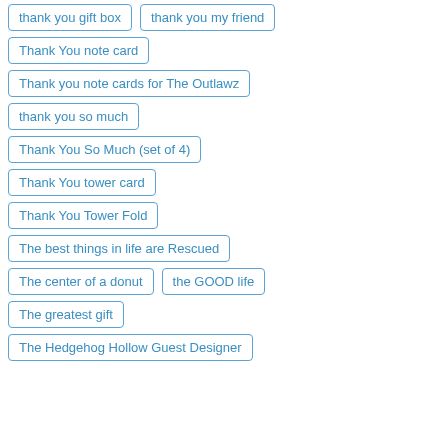thank you gift box
thank you my friend
Thank You note card
Thank you note cards for The Outlawz
thank you so much
Thank You So Much (set of 4)
Thank You tower card
Thank You Tower Fold
The best things in life are Rescued
The center of a donut
the GOOD life
The greatest gift
The Hedgehog Hollow Guest Designer